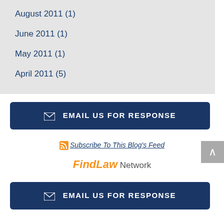August 2011 (1)
June 2011 (1)
May 2011 (1)
April 2011 (5)
EMAIL US FOR RESPONSE
Subscribe To This Blog's Feed
FindLaw Network
EMAIL US FOR RESPONSE